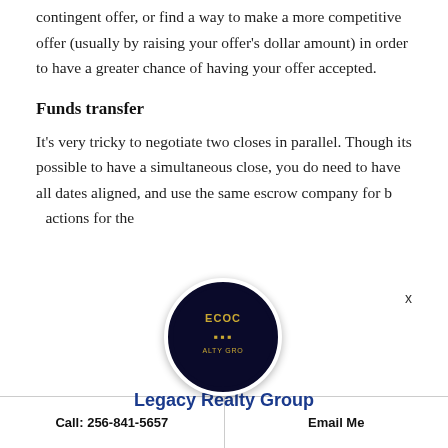contingent offer, or find a way to make a more competitive offer (usually by raising your offer's dollar amount) in order to have a greater chance of having your offer accepted.
Funds transfer
It's very tricky to negotiate two closes in parallel. Though its possible to have a simultaneous close, you do need to have all dates aligned, and use the same escrow company for b actions for the
[Figure (logo): Legacy Realty Group circular logo with dark blue background and gold text]
Legacy Realty Group
Call: 256-841-5657 | Email Me